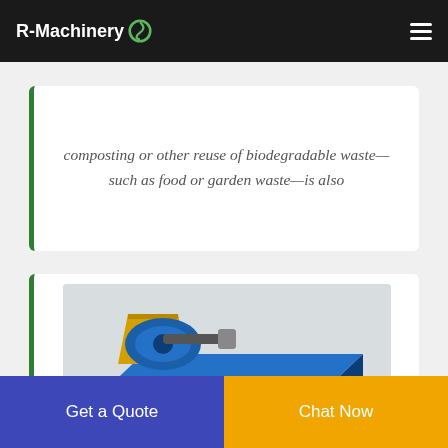R-Machinery
composting or other reuse of biodegradable waste—such as food or garden waste—is also
[Figure (photo): Industrial blue metal recycling / plastic granulating machine with yellow hopper, labeled with 'Plastic Outlet 99% Recycle Rate' and 'Dust Collector No dust pollution', dimension marker showing 1.6m]
Metal Recycling Companies and Suppliers (Waste and
...